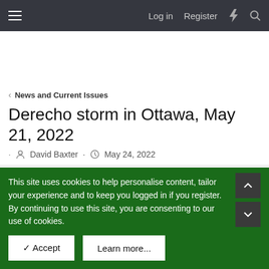Log in  Register
News and Current Issues
Derecho storm in Ottawa, May 21, 2022
David Baxter · May 24, 2022
David Baxter
Administrator
May 24, 2022  #1
This site uses cookies to help personalise content, tailor your experience and to keep you logged in if you register.
By continuing to use this site, you are consenting to our use of cookies.
✓ Accept   Learn more...